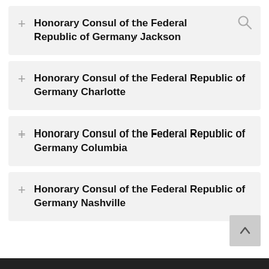+ Honorary Consul of the Federal Republic of Germany Jackson
+ Honorary Consul of the Federal Republic of Germany Charlotte
+ Honorary Consul of the Federal Republic of Germany Columbia
+ Honorary Consul of the Federal Republic of Germany Nashville